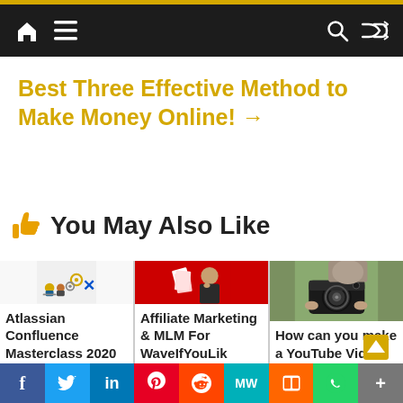Navigation bar with home, menu, search, and shuffle icons
Best Three Effective Method to Make Money Online! →
👍 You May Also Like
[Figure (photo): Atlassian Confluence illustration with gears and people at desks]
Atlassian Confluence Masterclass 2020
[Figure (photo): Man with printed photos on red background - Affiliate Marketing]
Affiliate Marketing & MLM For WaveIfYouLik
[Figure (photo): Person holding a DSLR camera]
How can you make a YouTube Video!
f  Twitter  in  Pinterest  Reddit  MW  Mix  WhatsApp  More